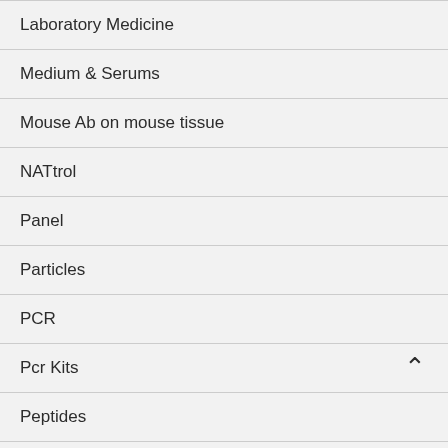Laboratory Medicine
Medium & Serums
Mouse Ab on mouse tissue
NATtrol
Panel
Particles
PCR
Pcr Kits
Peptides
Portable Motion-Analysis Device for Upper-Limb Research